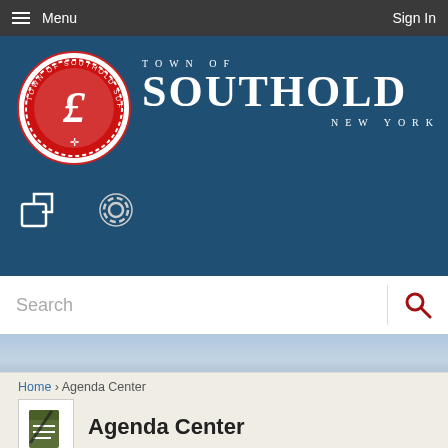Menu | Sign In
[Figure (logo): Town of Southold Suffolk County New York official seal — circular red and white seal with letter L in script center, cross at bottom, rope border]
TOWN OF SOUTHOLD NEW YORK
[Figure (other): Share icon and gear/settings icon in header banner]
Search
Home › Agenda Center
[Figure (other): Agenda Center icon — notepad with pencil]
Agenda Center